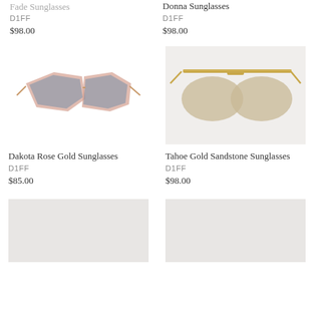Fade Sunglasses (partial)
D1FF
$98.00
Donna Sunglasses
D1FF
$98.00
[Figure (photo): Dakota Rose Gold oversized geometric sunglasses with rose gold frames and gradient grey lenses]
Dakota Rose Gold Sunglasses
D1FF
$85.00
[Figure (photo): Tahoe Gold Sandstone aviator sunglasses with gold metal frames and sandstone tinted lenses]
Tahoe Gold Sandstone Sunglasses
D1FF
$98.00
[Figure (photo): Placeholder light grey image area for product]
[Figure (photo): Placeholder light grey image area for product]